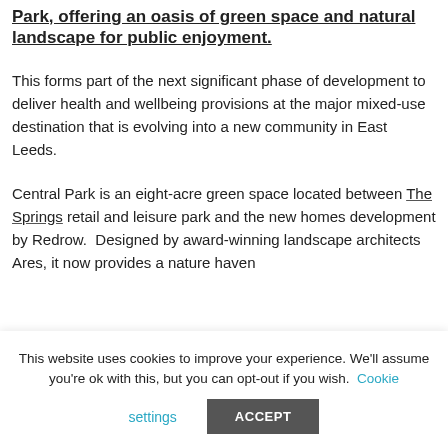Park, offering an oasis of green space and natural landscape for public enjoyment.
This forms part of the next significant phase of development to deliver health and wellbeing provisions at the major mixed-use destination that is evolving into a new community in East Leeds.
Central Park is an eight-acre green space located between The Springs retail and leisure park and the new homes development by Redrow.  Designed by award-winning landscape architects Ares, it now provides a nature haven
This website uses cookies to improve your experience. We'll assume you're ok with this, but you can opt-out if you wish. Cookie settings ACCEPT